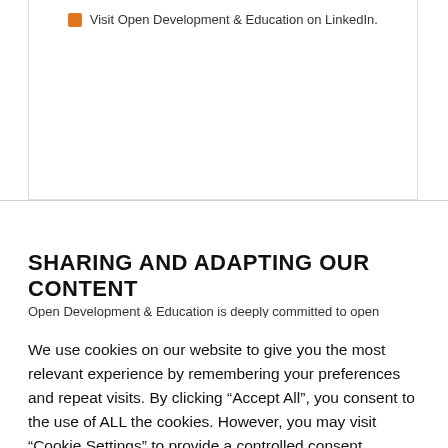Visit Open Development & Education on LinkedIn.
SHARING AND ADAPTING OUR CONTENT
Open Development & Education is deeply committed to open
We use cookies on our website to give you the most relevant experience by remembering your preferences and repeat visits. By clicking "Accept All", you consent to the use of ALL the cookies. However, you may visit "Cookie Settings" to provide a controlled consent.
Cookie Settings | Accept All